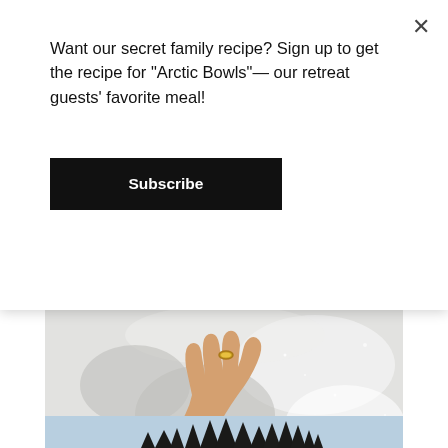Want our secret family recipe? Sign up to get the recipe for “Arctic Bowls”— our retreat guests’ favorite meal!
Subscribe
[Figure (photo): A hand wearing a gold ring, dressed in a golden-brown jacket sleeve, pressing against a large mound of white crystalline snow outdoors.]
[Figure (photo): Silhouette of tall evergreen trees against a light blue sky, partially visible at the bottom of the page.]